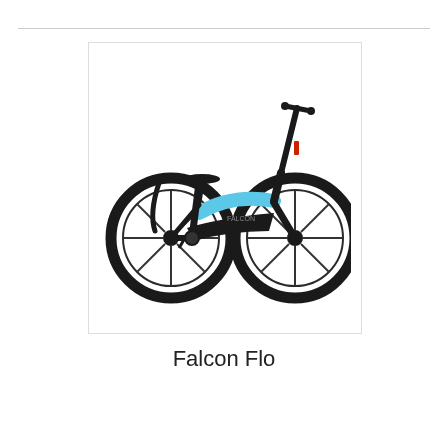[Figure (photo): Photo of a Falcon Flo folding electric bicycle with a light blue and black frame, spoke wheels, and a high handlebar stem, shown from the side against a white background.]
Falcon Flo
In Stock